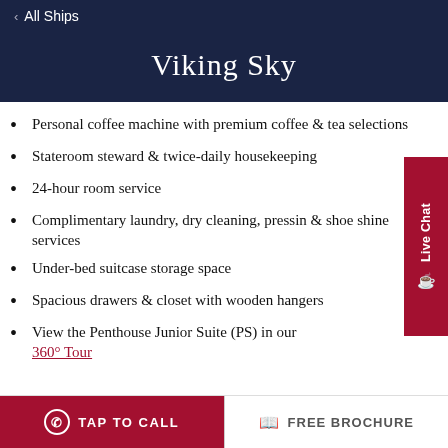< All Ships
Viking Sky
Personal coffee machine with premium coffee & tea selections
Stateroom steward & twice-daily housekeeping
24-hour room service
Complimentary laundry, dry cleaning, pressing & shoe shine services
Under-bed suitcase storage space
Spacious drawers & closet with wooden hangers
View the Penthouse Junior Suite (PS) in our 360° Tour